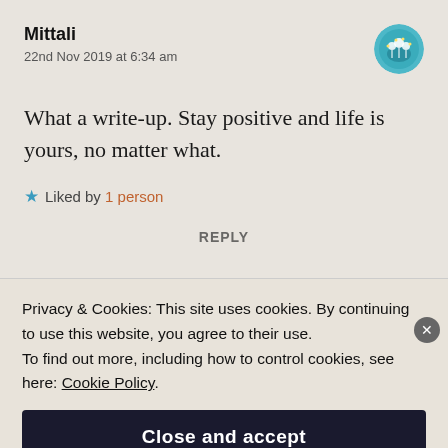Mittali
22nd Nov 2019 at 6:34 am
What a write-up. Stay positive and life is yours, no matter what.
★ Liked by 1person
REPLY
Privacy & Cookies: This site uses cookies. By continuing to use this website, you agree to their use.
To find out more, including how to control cookies, see here: Cookie Policy
Close and accept